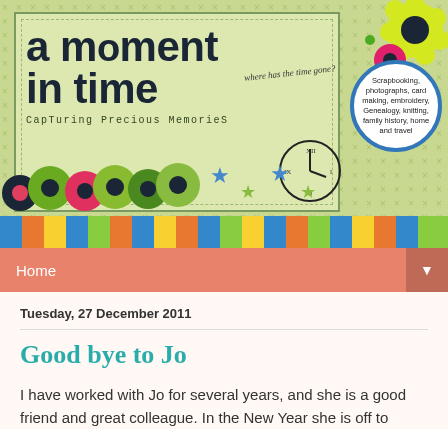[Figure (illustration): Scrapbooking blog banner titled 'a moment in time - Capturing Precious Memories' with decorative flowers, stars, clock, and a circular badge listing hobbies including scrapbooking, photography, card making, embroidery, genealogy, knitting, family history, home and travel. Colorful striped border at the bottom.]
Home ▼
Tuesday, 27 December 2011
Good bye to Jo
I have worked with Jo for several years, and she is a good friend and great colleague. In the New Year she is off to